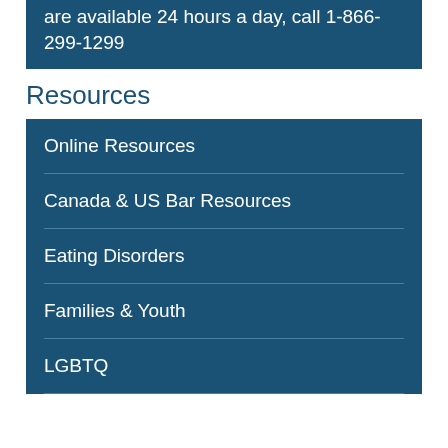are available 24 hours a day, call 1-866-299-1299
Resources
Online Resources
Canada & US Bar Resources
Eating Disorders
Families & Youth
LGBTQ